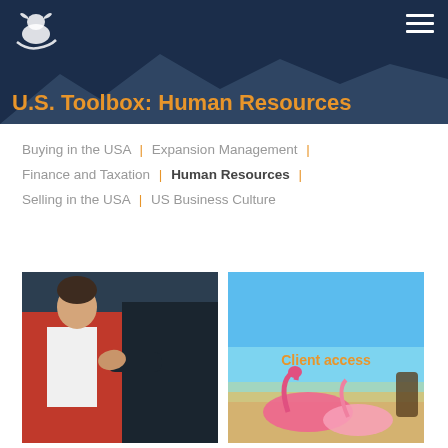U.S. Toolbox: Human Resources
Buying in the USA | Expansion Management | Finance and Taxation | Human Resources | Selling in the USA | US Business Culture
[Figure (photo): Woman in red jacket, workplace harassment scene]
[Figure (photo): Beach scene with flamingo pool floats and text 'Client access']